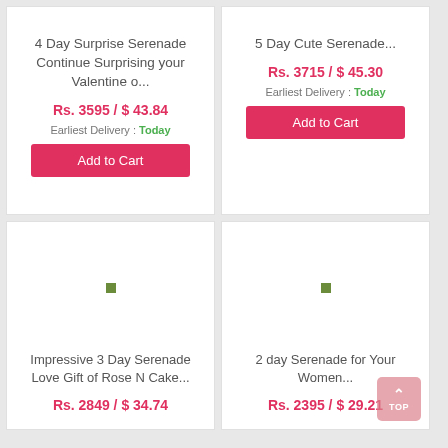4 Day Surprise Serenade Continue Surprising your Valentine o...
Rs. 3595 / $ 43.84
Earliest Delivery : Today
Add to Cart
5 Day Cute Serenade...
Rs. 3715 / $ 45.30
Earliest Delivery : Today
Add to Cart
[Figure (other): Product image placeholder with green square indicator]
Impressive 3 Day Serenade Love Gift of Rose N Cake...
Rs. 2849 / $ 34.74
[Figure (other): Product image placeholder with green square indicator]
2 day Serenade for Your Women...
Rs. 2395 / $ 29.21